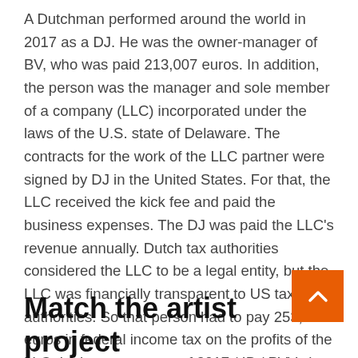A Dutchman performed around the world in 2017 as a DJ. He was the owner-manager of BV, who was paid 213,007 euros. In addition, the person was the manager and sole member of a company (LLC) incorporated under the laws of the U.S. state of Delaware. The contracts for the work of the LLC partner were signed by DJ in the United States. For that, the LLC received the kick fee and paid the business expenses. The DJ was paid the LLC's revenue annually. Dutch tax authorities considered the LLC to be a legal entity, but the LLC was financially transparent to US tax authorities. So that person had to pay 253,581 euros in federal income tax on the profits of the LLC. In the tax account of 2017 / IB / PVV, the person stated 693,204.
Match the artist project